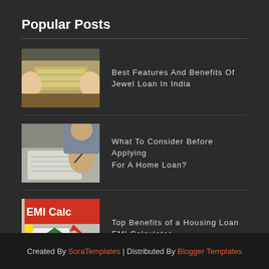Popular Posts
Best Features And Benefits Of Jewel Loan In India
What To Consider Before Applying For A Home Loan?
Top Benefits of a Housing Loan EMI Calculator
Created By SoraTemplates | Distributed By Blogger Templates